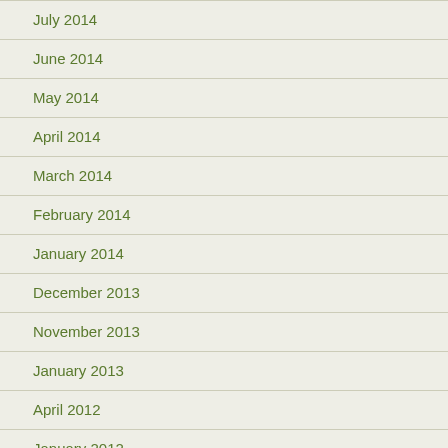July 2014
June 2014
May 2014
April 2014
March 2014
February 2014
January 2014
December 2013
November 2013
January 2013
April 2012
January 2012
December 2011
November 2011
October 2011